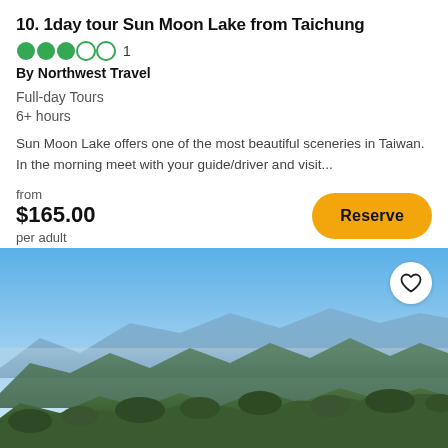10. 1 day tour Sun Moon Lake from Taichung
Rating: 3 out of 5 circles, 1 review. By Northwest Travel
Full-day Tours
6+ hours
Sun Moon Lake offers one of the most beautiful sceneries in Taiwan. In the morning meet with your guide/driver and visit...
from $165.00 per adult
[Figure (photo): Panoramic mountain landscape photo showing green rolling hills, layered mountain ridges, blue sky, misty valleys in background. The lower foreground shows dense green vegetation with mountain peaks and hazy distant ranges.]